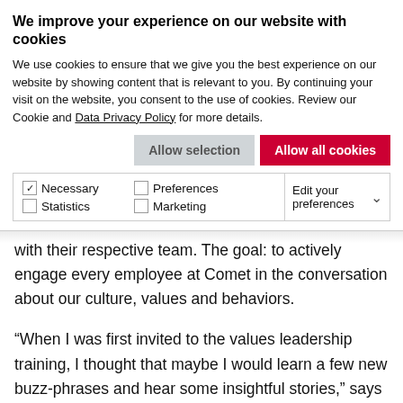We improve your experience on our website with cookies
We use cookies to ensure that we give you the best experience on our website by showing content that is relevant to you. By continuing your visit on the website, you consent to the use of cookies. Review our Cookie and Data Privacy Policy for more details.
Allow selection | Allow all cookies
Necessary | Preferences | Statistics | Marketing | Edit your preferences
with their respective team. The goal: to actively engage every employee at Comet in the conversation about our culture, values and behaviors.
“When I was first invited to the values leadership training, I thought that maybe I would learn a few new buzz-phrases and hear some insightful stories,” says Christopher Cherry, Technical Service Manager in Hudson, Ohio, USA. “But the training was organized in a way that allowed for people f...